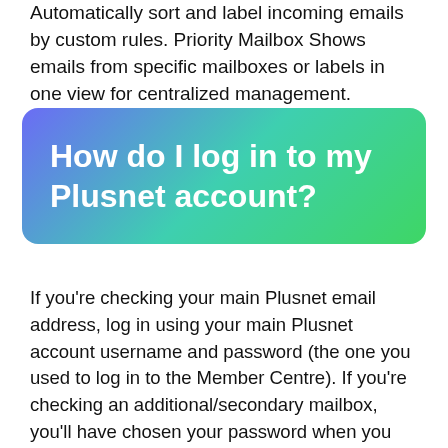Automatically sort and label incoming emails by custom rules. Priority Mailbox Shows emails from specific mailboxes or labels in one view for centralized management.
How do I log in to my Plusnet account?
If you’re checking your main Plusnet email address, log in using your main Plusnet account username and password (the one you used to log in to the Member Centre). If you’re checking an additional/secondary mailbox, you’ll have chosen your password when you created it.